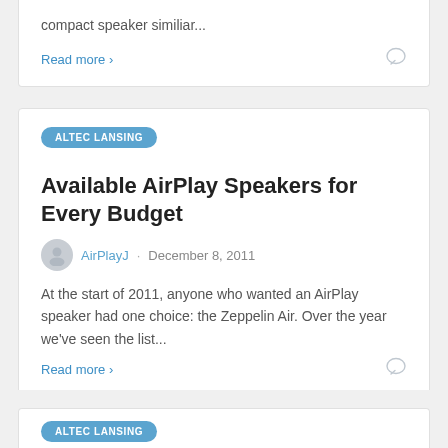compact speaker similiar...
Read more >
ALTEC LANSING
Available AirPlay Speakers for Every Budget
AirPlayJ · December 8, 2011
At the start of 2011, anyone who wanted an AirPlay speaker had one choice: the Zeppelin Air. Over the year we've seen the list...
Read more >
ALTEC LANSING (partial)